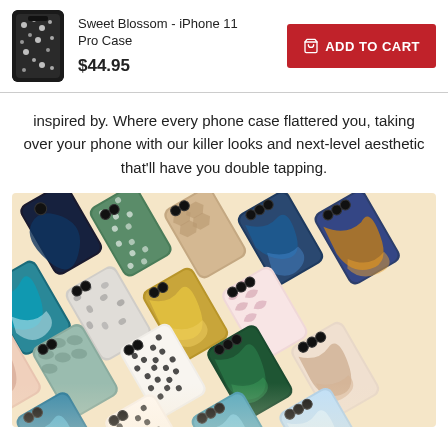Sweet Blossom - iPhone 11 Pro Case | $44.95 | ADD TO CART
inspired by. Where every phone case flattered you, taking over your phone with our killer looks and next-level aesthetic that'll have you double tapping.
[Figure (photo): Array of various patterned iPhone cases arranged diagonally on a cream background, showing marble, floral, animal print, and abstract designs.]